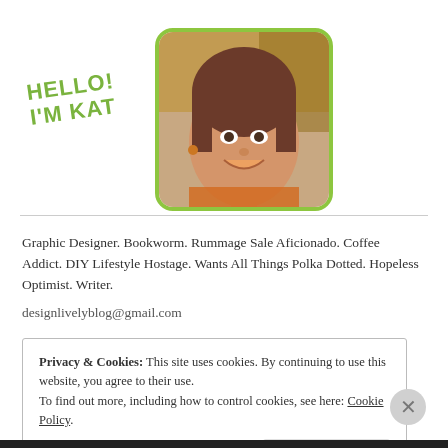[Figure (photo): Profile photo of a smiling woman with brown hair, wearing a colorful top, in a rounded square frame with a green border. Green text 'HELLO! I'M KAT' appears to the left of the photo.]
Graphic Designer. Bookworm. Rummage Sale Aficionado. Coffee Addict. DIY Lifestyle Hostage. Wants All Things Polka Dotted. Hopeless Optimist. Writer.
designlivelyblog@gmail.com
Privacy & Cookies: This site uses cookies. By continuing to use this website, you agree to their use.
To find out more, including how to control cookies, see here: Cookie Policy
Close and accept